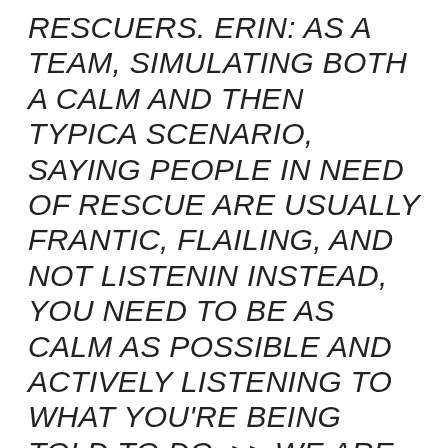RESCUERS. ERIN: AS A TEAM, SIMULATING BOTH A CALM AND THEN TYPICA SCENARIO, SAYING PEOPLE IN NEED OF RESCUE ARE USUALLY FRANTIC, FLAILING, AND NOT LISTENIN INSTEAD, YOU NEED TO BE AS CALM AS POSSIBLE AND ACTIVELY LISTENING TO WHAT YOU'RE BEING TOLD TO DO. >> WE ARE GOING TO WAIT FOR THAT BOAT TO COME GET US. ER:IN IT'S NOT JUST FOR YOUR SAFETY, BUFOT B THE SAFETY OF THE
We use cookies on our website to give you the most relevant experience by remembering your preferences and repeat visits. By clicking “Accept All”, you consent to the use of ALL the cookies. However, you may visit "Cookie Settings" to provide a controlled consent.